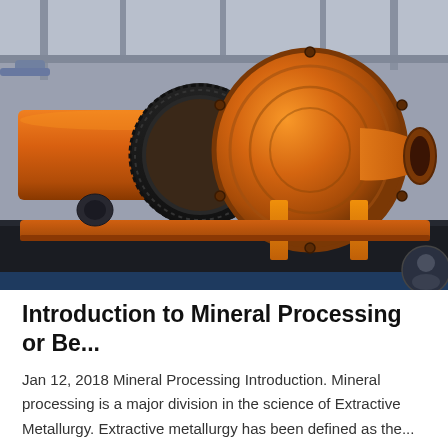[Figure (photo): Large orange industrial ball mill machine in a factory setting. The machine features a horizontal cylindrical drum with a large gear ring, a spherical end cap, and a discharge cone on the right side. The machine sits on an orange support frame and base platform. The factory floor and ceiling structure are visible in the background.]
Introduction to Mineral Processing or Be...
Jan 12, 2018 Mineral Processing Introduction. Mineral processing is a major division in the science of Extractive Metallurgy. Extractive metallurgy has been defined as the...